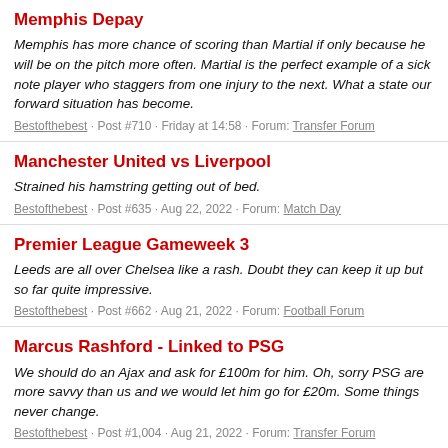Memphis Depay
Memphis has more chance of scoring than Martial if only because he will be on the pitch more often. Martial is the perfect example of a sick note player who staggers from one injury to the next. What a state our forward situation has become.
Bestofthebest · Post #710 · Friday at 14:58 · Forum: Transfer Forum
Manchester United vs Liverpool
Strained his hamstring getting out of bed.
Bestofthebest · Post #635 · Aug 22, 2022 · Forum: Match Day
Premier League Gameweek 3
Leeds are all over Chelsea like a rash. Doubt they can keep it up but so far quite impressive.
Bestofthebest · Post #662 · Aug 21, 2022 · Forum: Football Forum
Marcus Rashford - Linked to PSG
We should do an Ajax and ask for £100m for him. Oh, sorry PSG are more savvy than us and we would let him go for £20m. Some things never change.
Bestofthebest · Post #1,004 · Aug 21, 2022 · Forum: Transfer Forum